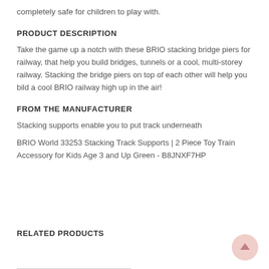completely safe for children to play with.
PRODUCT DESCRIPTION
Take the game up a notch with these BRIO stacking bridge piers for railway, that help you build bridges, tunnels or a cool, multi-storey railway. Stacking the bridge piers on top of each other will help you bild a cool BRIO railway high up in the air!
FROM THE MANUFACTURER
Stacking supports enable you to put track underneath
BRIO World 33253 Stacking Track Supports | 2 Piece Toy Train Accessory for Kids Age 3 and Up Green - B8JNXF7HP
RELATED PRODUCTS